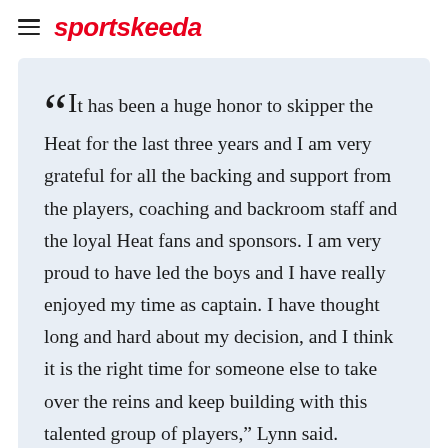sportskeeda
“It has been a huge honor to skipper the Heat for the last three years and I am very grateful for all the backing and support from the players, coaching and backroom staff and the loyal Heat fans and sponsors. I am very proud to have led the boys and I have really enjoyed my time as captain. I have thought long and hard about my decision, and I think it is the right time for someone else to take over the reins and keep building with this talented group of players,” Lynn said.